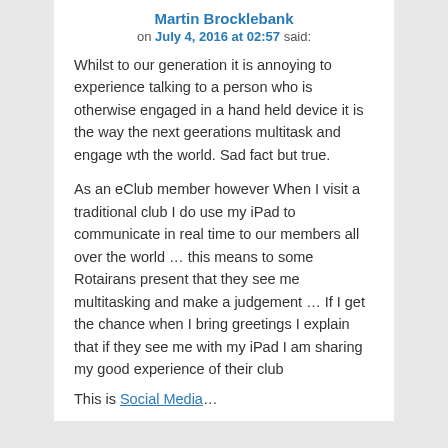Martin Brocklebank
on July 4, 2016 at 02:57 said:
Whilst to our generation it is annoying to experience talking to a person who is otherwise engaged in a hand held device it is the way the next geerations multitask and engage wth the world. Sad fact but true.
As an eClub member however When I visit a traditional club I do use my iPad to communicate in real time to our members all over the world … this means to some Rotairans present that they see me multitasking and make a judgement … If I get the chance when I bring greetings I explain that if they see me with my iPad I am sharing my good experience of their club
This is Social Media…